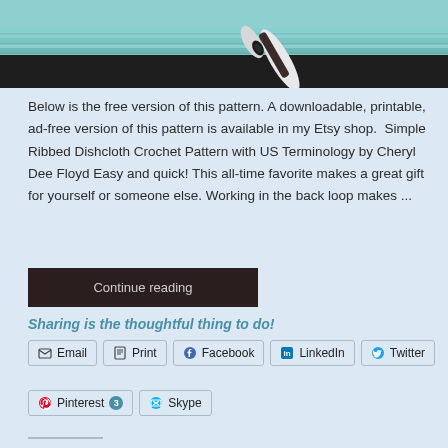[Figure (photo): Partial view of a crocheted item (light blue/teal dishcloth) with a white crochet hook on a dark background, cropped at top of page]
Below is the free version of this pattern. A downloadable, printable, ad-free version of this pattern is available in my Etsy shop.  Simple Ribbed Dishcloth Crochet Pattern with US Terminology by Cheryl Dee Floyd Easy and quick! This all-time favorite makes a great gift for yourself or someone else. Working in the back loop makes ...
Continue reading
Sharing is the thoughtful thing to do!
Email
Print
Facebook
LinkedIn
Twitter
Pinterest 3
Skype